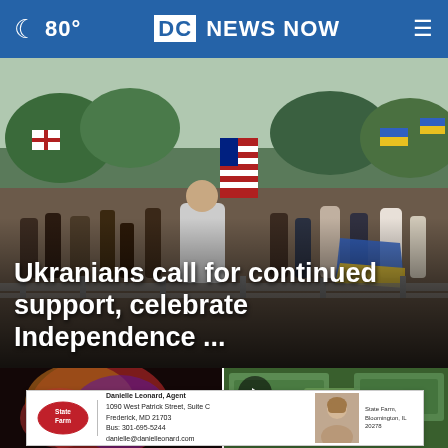🌙 80° | DC NEWS NOW | ☰
[Figure (photo): Crowd of people holding Ukrainian and American flags at an outdoor gathering, with metal barricades in the foreground.]
Ukranians call for continued support, celebrate Independence ...
[Figure (photo): Left thumbnail: blurred colorful lights, likely a news story thumbnail.]
[Figure (photo): Right thumbnail: overhead view of US dollar bills with a play button overlay and close (X) button.]
[Figure (other): State Farm advertisement banner featuring agent Danielle Leonard, 1090 West Patrick Street, Suite C, Frederick, MD 21703, Bus: 301-695-5244, danielle@danielleonard.com, with agent photo and State Farm logo.]